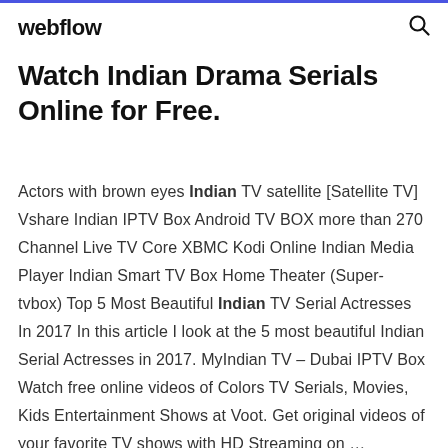webflow
Watch Indian Drama Serials Online for Free.
Actors with brown eyes Indian TV satellite [Satellite TV] Vshare Indian IPTV Box Android TV BOX more than 270 Channel Live TV Core XBMC Kodi Online Indian Media Player Indian Smart TV Box Home Theater (Super-tvbox) Top 5 Most Beautiful Indian TV Serial Actresses In 2017 In this article I look at the 5 most beautiful Indian Serial Actresses in 2017. MyIndian TV – Dubai IPTV Box Watch free online videos of Colors TV Serials, Movies, Kids Entertainment Shows at Voot. Get original videos of your favorite TV shows with HD Streaming on ...